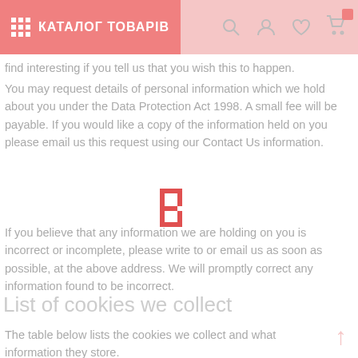КАТАЛОГ ТОВАРІВ
find interesting if you tell us that you wish this to happen.
You may request details of personal information which we hold about you under the Data Protection Act 1998. A small fee will be payable. If you would like a copy of the information held on you please email us this request using our Contact Us information.
[Figure (logo): Red and white logo mark resembling a stylized letter B or bracket shape]
If you believe that any information we are holding on you is incorrect or incomplete, please write to or email us as soon as possible, at the above address. We will promptly correct any information found to be incorrect.
List of cookies we collect
The table below lists the cookies we collect and what information they store.